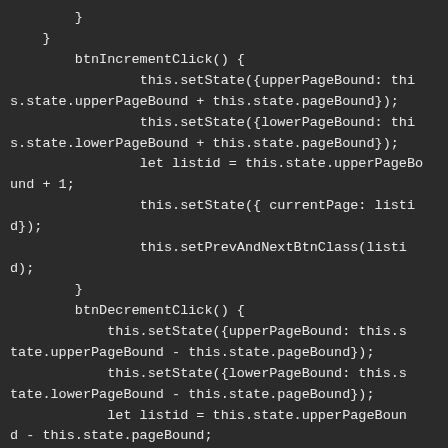}
    }
        btnIncrementClick() {
                this.setState({upperPageBound: this.state.upperPageBound + this.state.pageBound});
                this.setState({lowerPageBound: this.state.lowerPageBound + this.state.pageBound});
                let listid = this.state.upperPageBound + 1;
                this.setState({ currentPage: listid});
                this.setPrevAndNextBtnClass(listid);
        }
        btnDecrementClick() {
            this.setState({upperPageBound: this.state.upperPageBound - this.state.pageBound});
            this.setState({lowerPageBound: this.state.lowerPageBound - this.state.pageBound});
            let listid = this.state.upperPageBound - this.state.pageBound;
            d - this.state.pageBound;